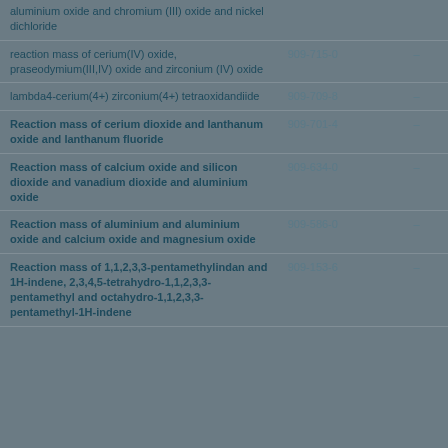| Substance name | EC number | CAS number |
| --- | --- | --- |
| aluminium oxide and chromium (III) oxide and nickel dichloride |  |  |
| reaction mass of cerium(IV) oxide, praseodymium(III,IV) oxide and zirconium (IV) oxide | 909-715-0 | - |
| lambda4-cerium(4+) zirconium(4+) tetraoxidandiide | 909-709-8 | - |
| Reaction mass of cerium dioxide and lanthanum oxide and lanthanum fluoride | 909-701-4 | - |
| Reaction mass of calcium oxide and silicon dioxide and vanadium dioxide and aluminium oxide | 909-634-0 | - |
| Reaction mass of aluminium and aluminium oxide and calcium oxide and magnesium oxide | 909-586-0 | - |
| Reaction mass of 1,1,2,3,3-pentamethylindan and 1H-indene, 2,3,4,5-tetrahydro-1,1,2,3,3-pentamethyl and octahydro-1,1,2,3,3-pentamethyl-1H-indene | 909-153-6 | - |